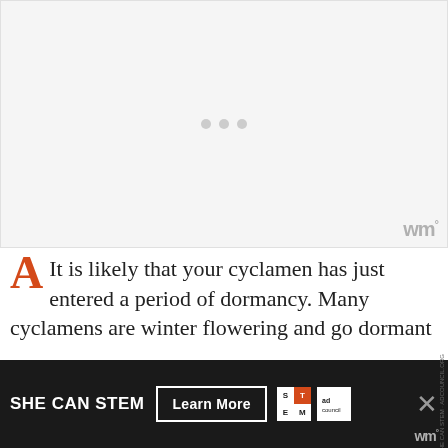[Figure (other): Light gray video/image placeholder area with three gray loading dots in the center and a watermark 'wm°' in the bottom right corner]
A  It is likely that your cyclamen has just entered a period of dormancy. Many cyclamens are winter flowering and go dormant in late spring and over summer. New growth should appear around
[Figure (other): Advertisement banner: 'SHE CAN STEM' with 'Learn More' button, STEM logo, Ad Council logo, and close X button on dark background]